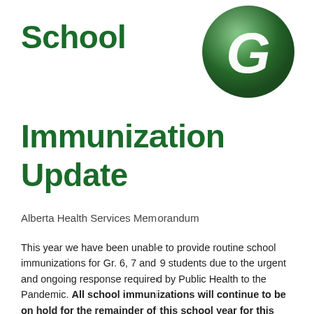School
[Figure (logo): Green circular logo with white letter G in the center, 3D glossy style]
Immunization Update
Alberta Health Services Memorandum
This year we have been unable to provide routine school immunizations for Gr. 6, 7 and 9 students due to the urgent and ongoing response required by Public Health to the Pandemic. All school immunizations will continue to be on hold for the remainder of this school year for this reason, and due